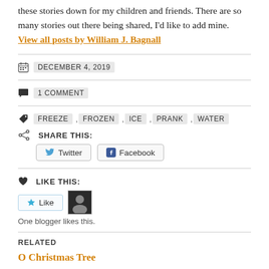these stories down for my children and friends. There are so many stories out there being shared, I'd like to add mine. View all posts by William J. Bagnall
DECEMBER 4, 2019
1 COMMENT
FREEZE , FROZEN , ICE , PRANK , WATER
SHARE THIS:
Twitter  Facebook
LIKE THIS:
Like  One blogger likes this.
RELATED
O Christmas Tree